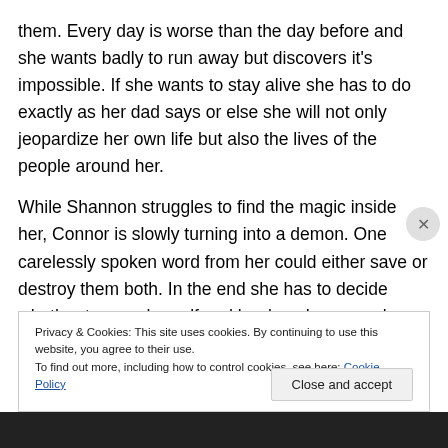them. Every day is worse than the day before and she wants badly to run away but discovers it's impossible. If she wants to stay alive she has to do exactly as her dad says or else she will not only jeopardize her own life but also the lives of the people around her.
While Shannon struggles to find the magic inside her, Connor is slowly turning into a demon. One carelessly spoken word from her could either save or destroy them both. In the end she has to decide whether to save herself and her loved ones, or lose her dad to the darkness and evil that threaten to eat his soul.
Privacy & Cookies: This site uses cookies. By continuing to use this website, you agree to their use.
To find out more, including how to control cookies, see here: Cookie Policy